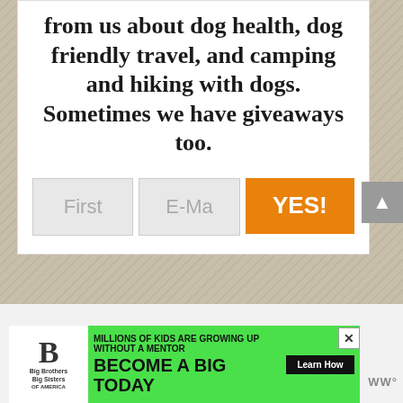from us about dog health, dog friendly travel, and camping and hiking with dogs. Sometimes we have giveaways too.
[Figure (screenshot): Email signup form with First name field, E-Mail field, and orange YES! button]
[Figure (infographic): Big Brothers Big Sisters advertisement banner: 'MILLIONS OF KIDS ARE GROWING UP WITHOUT A MENTOR. BECOME A BIG TODAY' with Learn How button]